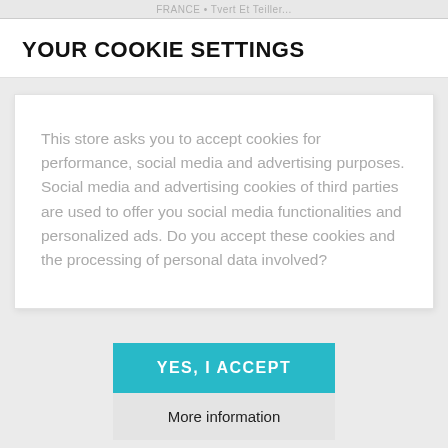FRANCE • Tvert Et Teller...
YOUR COOKIE SETTINGS
This store asks you to accept cookies for performance, social media and advertising purposes. Social media and advertising cookies of third parties are used to offer you social media functionalities and personalized ads. Do you accept these cookies and the processing of personal data involved?
YES, I ACCEPT
More information